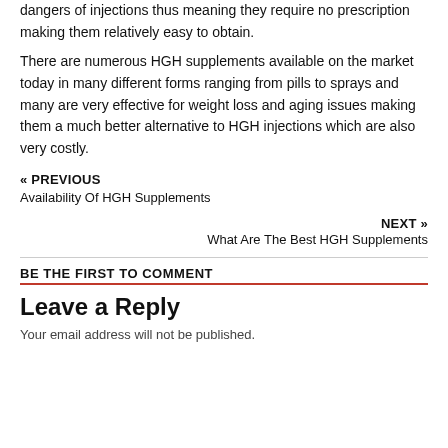dangers of injections thus meaning they require no prescription making them relatively easy to obtain.
There are numerous HGH supplements available on the market today in many different forms ranging from pills to sprays and many are very effective for weight loss and aging issues making them a much better alternative to HGH injections which are also very costly.
« PREVIOUS
Availability Of HGH Supplements
NEXT »
What Are The Best HGH Supplements
BE THE FIRST TO COMMENT
Leave a Reply
Your email address will not be published.